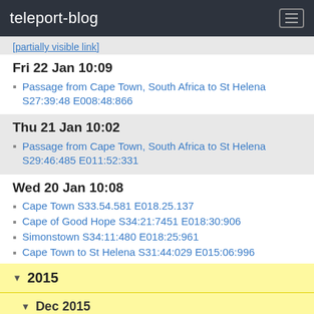teleport-blog
[partially visible link at top]
Fri 22 Jan 10:09
Passage from Cape Town, South Africa to St Helena S27:39:48 E008:48:866
Thu 21 Jan 10:02
Passage from Cape Town, South Africa to St Helena S29:46:485 E011:52:331
Wed 20 Jan 10:08
Cape Town S33.54.581 E018.25.137
Cape of Good Hope S34:21:7451 E018:30:906
Simonstown S34:11:480 E018:25:961
Cape Town to St Helena S31:44:029 E015:06:996
2015
Dec 2015
Sat 5 Dec 15:53
Simonstown S34:11:481 E018:25:957
Cape Agulhas S34:52:617 E020:00:914